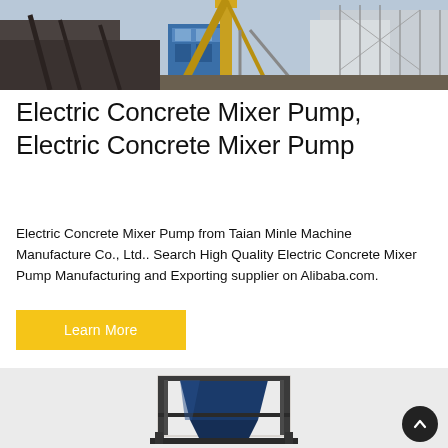[Figure (photo): Industrial concrete mixing plant facility with blue control building, yellow conveyor/crane structure, and metal scaffolding against sky]
Electric Concrete Mixer Pump, Electric Concrete Mixer Pump
Electric Concrete Mixer Pump from Taian Minle Machine Manufacture Co., Ltd.. Search High Quality Electric Concrete Mixer Pump Manufacturing and Exporting supplier on Alibaba.com.
Learn More
[Figure (photo): Blue industrial concrete hopper/skip loader equipment on light gray background, with dark scroll-to-top button in lower right corner]